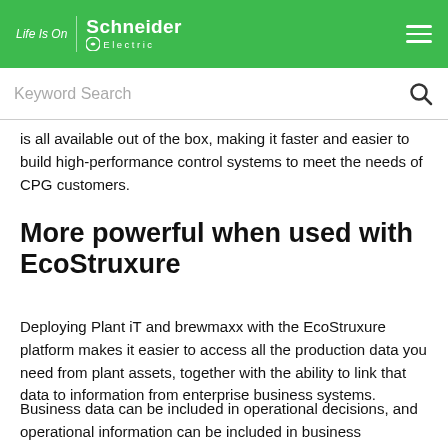Life Is On | Schneider Electric
is all available out of the box, making it faster and easier to build high-performance control systems to meet the needs of CPG customers.
More powerful when used with EcoStruxure
Deploying Plant iT and brewmaxx with the EcoStruxure platform makes it easier to access all the production data you need from plant assets, together with the ability to link that data to information from enterprise business systems.
Business data can be included in operational decisions, and operational information can be included in business decisions. The result is one homogenous business management system. For example, the EcoStruxure platform, including Modicon M580 controllers, makes it even easier for CPG production data to help